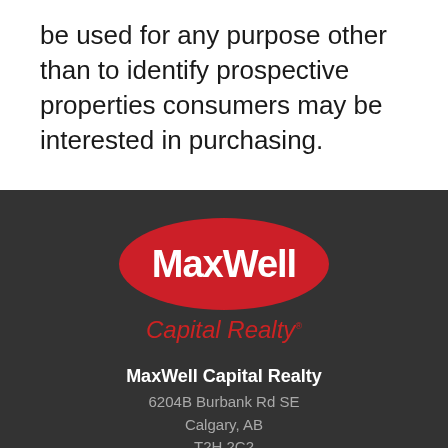be used for any purpose other than to identify prospective properties consumers may be interested in purchasing.
[Figure (logo): MaxWell Capital Realty logo — red oval with white bold text 'MaxWell' and red italic text 'Capital Realty' below with registered trademark symbol]
MaxWell Capital Realty
6204B Burbank Rd SE
Calgary, AB
T2H 2C2